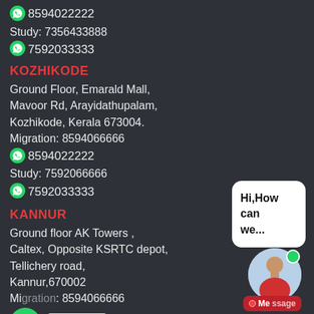📱 8594022222
Study: 7356433888
📱 7592033333
KOZHIKODE
Ground Floor, Emarald Mall, Mavoor Rd, Arayidathupalam, Kozhikode, Kerala 673004.
Migration: 8594066666
📱 8594022222
Study: 7592066666
📱 7592033333
KANNUR
Ground floor AK Towers , Caltex, Opposite KSRTC depot, Tellichery road, Kannur,670002
Migration: 8594066666
📱 8594022222
Study: 8956733777
📱 7592033333